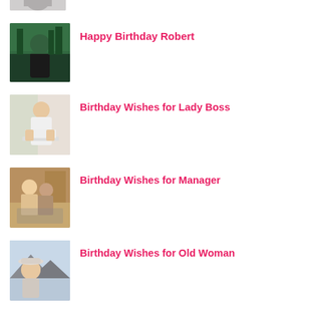[Figure (photo): Partial image of person with hat, cropped at top]
[Figure (photo): Person in dark hoodie standing by a lake in a forest]
Happy Birthday Robert
[Figure (photo): Woman in white shirt working on laptop at a desk by window]
Birthday Wishes for Lady Boss
[Figure (photo): Two people looking at a computer screen in an office]
Birthday Wishes for Manager
[Figure (photo): Woman with cap outdoors, mountains in background]
Birthday Wishes for Old Woman